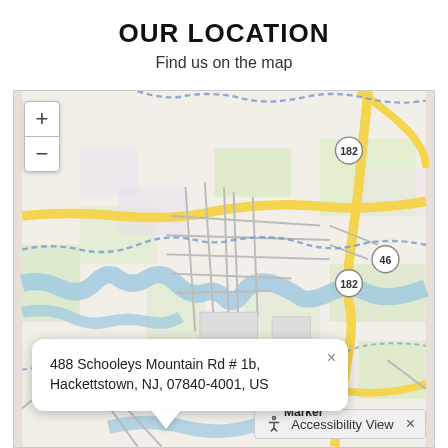OUR LOCATION
Find us on the map
[Figure (map): OpenStreetMap-style street map centered on Hackettstown, NJ area showing roads including Route 182 and Route 46, rivers, green spaces, and a map marker indicating 488 Schooleys Mountain Rd # 1b, Hackettstown, NJ, 07840-4001, US]
488 Schooleys Mountain Rd # 1b, Hackettstown, NJ, 07840-4001, US
Map Marker
Accessibility View